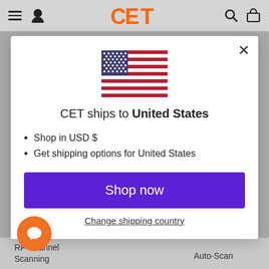CET (navigation bar with hamburger, user, search, cart icons)
[Figure (screenshot): US flag emoji/icon centered in modal]
CET ships to United States
Shop in USD $
Get shipping options for United States
Shop now
Change shipping country
RF Channel Scanning
Auto-Scan